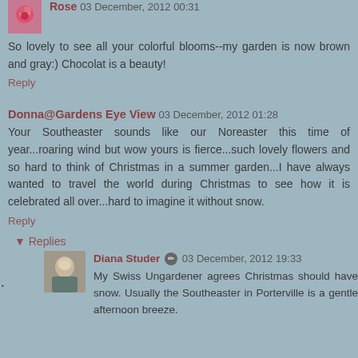Rose 03 December, 2012 00:31
So lovely to see all your colorful blooms--my garden is now brown and gray:) Chocolat is a beauty!
Reply
Donna@Gardens Eye View 03 December, 2012 01:28
Your Southeaster sounds like our Noreaster this time of year...roaring wind but wow yours is fierce...such lovely flowers and so hard to think of Christmas in a summer garden...I have always wanted to travel the world during Christmas to see how it is celebrated all over...hard to imagine it without snow.
Reply
▾ Replies
Diana Studer 03 December, 2012 19:33
My Swiss Ungardener agrees Christmas should have snow. Usually the Southeaster in Porterville is a gentle afternoon breeze.